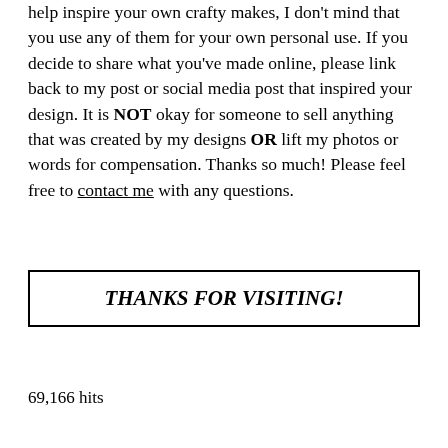help inspire your own crafty makes, I don't mind that you use any of them for your own personal use.  If you decide to share what you've made online, please link back to my post or social media post that inspired your design.  It is NOT okay for someone to sell anything that was created by my designs OR lift my photos or words for compensation.  Thanks so much!  Please feel free to contact me with any questions.
THANKS FOR VISITING!
69,166 hits